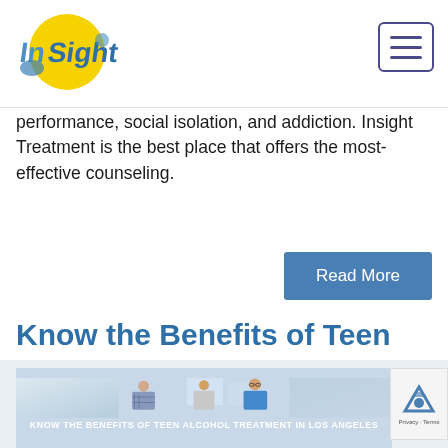Insight Treatment [logo] [hamburger menu]
performance, social isolation, and addiction. Insight Treatment is the best place that offers the most-effective counseling.
Read More
Know the Benefits of Teen Alcohol Treatment in Los Angeles
[Figure (photo): Group of people (counseling session) with caption overlay: KNOW THE BENEFITS OF TEEN ALCOHOL TREATMENT IN LOS ANGELES]